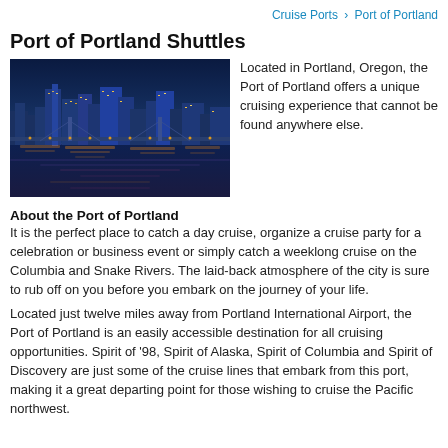Cruise Ports › Port of Portland
Port of Portland Shuttles
[Figure (photo): Night photo of Portland, Oregon skyline reflected in the river with city lights and bridges visible]
Located in Portland, Oregon, the Port of Portland offers a unique cruising experience that cannot be found anywhere else.
About the Port of Portland
It is the perfect place to catch a day cruise, organize a cruise party for a celebration or business event or simply catch a weeklong cruise on the Columbia and Snake Rivers. The laid-back atmosphere of the city is sure to rub off on you before you embark on the journey of your life.
Located just twelve miles away from Portland International Airport, the Port of Portland is an easily accessible destination for all cruising opportunities. Spirit of '98, Spirit of Alaska, Spirit of Columbia and Spirit of Discovery are just some of the cruise lines that embark from this port, making it a great departing point for those wishing to cruise the Pacific northwest.